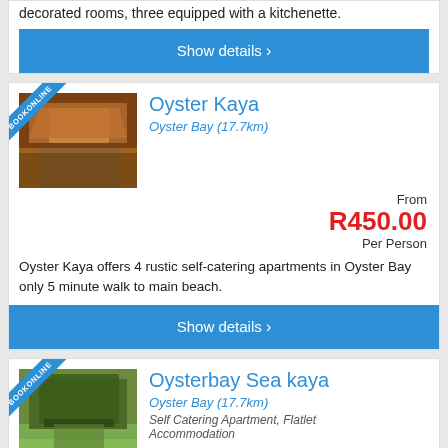decorated rooms, three equipped with a kitchenette.
Show details
Oyster Kaya
Oyster Bay (17.7km)
From R450.00 Per Person
Oyster Kaya offers 4 rustic self-catering apartments in Oyster Bay only 5 minute walk to main beach.
Show details
Oysterbay Sea kaya
Oyster Bay (17.7km)
Self Catering Apartment, Flatlet Accommodation
Oyster Bay is a quiet, peaceful town on the edge of the